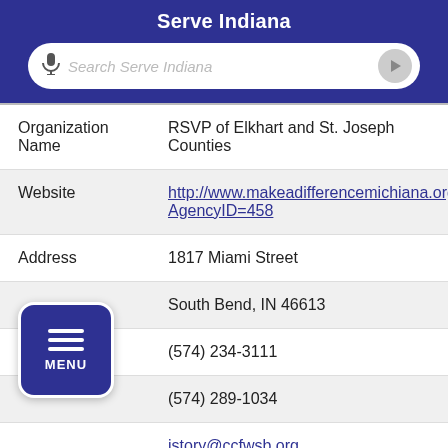Serve Indiana
| Field | Value |
| --- | --- |
| Organization Name | RSVP of Elkhart and St. Joseph Counties |
| Website | http://www.makeadifferencemichiana.org AgencyID=458 |
| Address | 1817 Miami Street |
|  | South Bend, IN 46613 |
| Phone | (574) 234-3111 |
|  | (574) 289-1034 |
|  | jstory@ccfwsb.org |